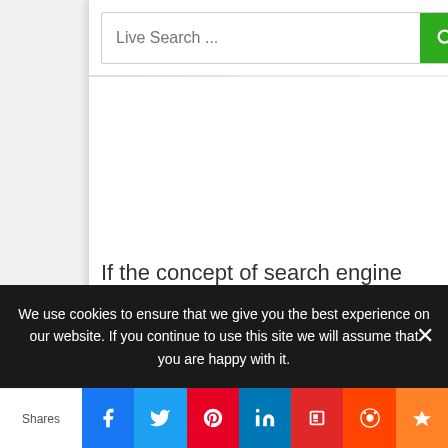[Figure (screenshot): Search bar with placeholder text 'Live Search ...' and a green search button with magnifying glass icon]
If the concept of search engine
We use cookies to ensure that we give you the best experience on our website. If you continue to use this site we will assume that you are happy with it.
[Figure (other): Social share bar with Shares label and icons for Facebook, Twitter, Pinterest, LinkedIn, Flipboard, Reddit, and Mix/Crown]